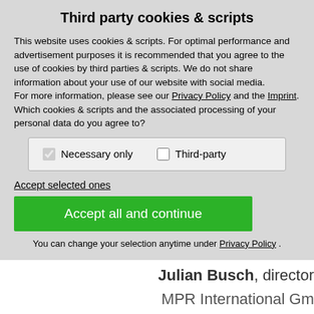Third party cookies & scripts
This website uses cookies & scripts. For optimal performance and advertisement purposes it is recommended that you agree to the use of cookies by third parties & scripts. We do not share information about your use of our website with social media.
For more information, please see our Privacy Policy and the Imprint.
Which cookies & scripts and the associated processing of your personal data do you agree to?
Necessary only   Third-party
Accept selected ones
Accept all and continue
You can change your selection anytime under Privacy Policy .
Here is a brief vi... about the FLS acce...
Julian Busch, director
MPR International Gm...
Dieses Video kann leider nur geladen...